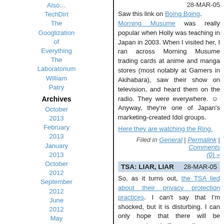Also…
TechDirt
The Googlization of Everything
The Laboratorium
William Patry
Archives
October 2013
February 2013
January 2013
October 2012
September 2012
June 2012
May 2012
September
28-MAR-05
Saw this link on Boing Boing.
Morning Musume was really popular when Holly was teaching in Japan in 2003. When I visited her, I ran across Morning Musume trading cards at anime and manga stores (most notably at Gamers in Akihabara), saw their show on television, and heard them on the radio. They were everywhere. ☺ Anyway, they're one of Japan's marketing-created Idol groups.
Here they are watching the Ring.
Filed in General | Permalink | Comments (0) »
TSA: LIAR, LIAR
28-MAR-05
So, as it turns out, the TSA lied about their privacy protection practices. I can't say that I'm shocked, but it is disturbing. I can only hope that there will be repercussions to these actions…
Filed in General, Privacy | Permalink | Comments (0) »